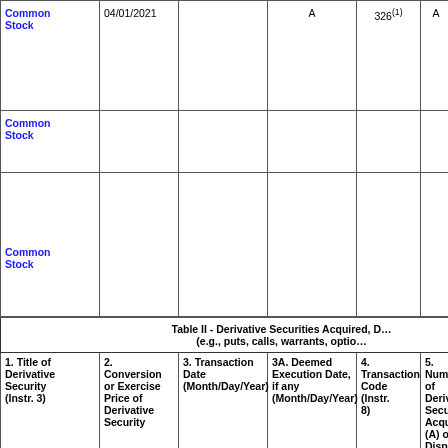| 1. Title of Derivative Security (Instr. 3) | 2. Conversion or Exercise Price of Derivative Security | 3. Transaction Date (Month/Day/Year) | 3A. Deemed Execution Date, if any (Month/Day/Year) | 4. Transaction Code (Instr. 8) | 5. Number of Derivative Securities Acquired (A) or Disposed of (D) (Instr. 3, 4 and 5) | 6. Date Expiration (Month/... |
| --- | --- | --- | --- | --- | --- | --- |
| Common Stock | 04/01/2021 |  | A | 326(1) | A | $0 | 5,08... |
| Common Stock |  |  |  |  |  |  | 17,75... |
| Common Stock |  |  |  |  |  |  | 13,07... |
| Table II - Derivative Securities Acquired, D... (e.g., puts, calls, warrants, option... |  |  |  |  |  |  |  |
| 1. Title of Derivative Security (Instr. 3) | 2. Conversion or Exercise Price of Derivative Security | 3. Transaction Date (Month/Day/Year) | 3A. Deemed Execution Date, if any (Month/Day/Year) | 4. Transaction Code (Instr. 8) | 5. Number of Derivative Securities Acquired (A) or Disposed of (D) (Instr. 3, 4 and 5) | 6. Date Expiration (Month/... |